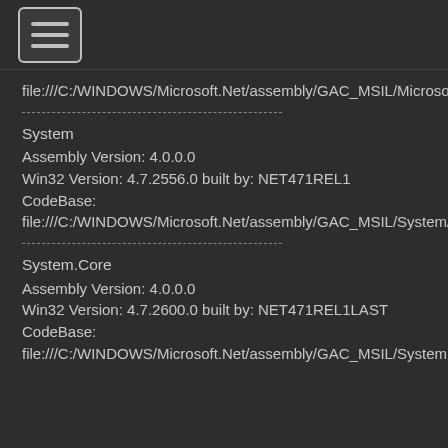≡ (hamburger menu button)
file:///C:/WINDOWS/Microsoft.Net/assembly/GAC_MSIL/Microsoft.VisualBasic/v4.0_10.0.0.0__b03f5f7f11d50a3a/Microsoft.VisualBasic.dll
System
Assembly Version: 4.0.0.0
Win32 Version: 4.7.2556.0 built by: NET471REL1
CodeBase:
file:///C:/WINDOWS/Microsoft.Net/assembly/GAC_MSIL/System/v4.0_4.0.0.0__b77a5c561934e089/System.dll
System.Core
Assembly Version: 4.0.0.0
Win32 Version: 4.7.2600.0 built by: NET471REL1LAST
CodeBase:
file:///C:/WINDOWS/Microsoft.Net/assembly/GAC_MSIL/System.Core/v4.0_4.0.0.0__b77a5c561934e089/System.Core.dll